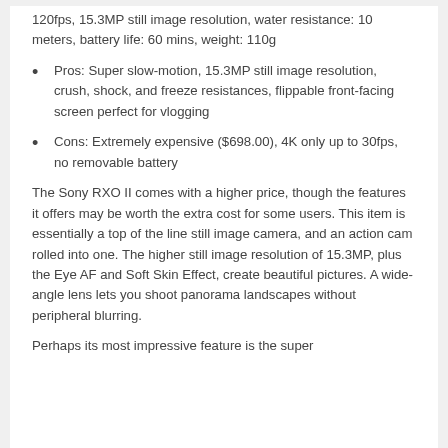120fps, 15.3MP still image resolution, water resistance: 10 meters, battery life: 60 mins, weight: 110g
Pros: Super slow-motion, 15.3MP still image resolution, crush, shock, and freeze resistances, flippable front-facing screen perfect for vlogging
Cons: Extremely expensive ($698.00), 4K only up to 30fps, no removable battery
The Sony RXO II comes with a higher price, though the features it offers may be worth the extra cost for some users. This item is essentially a top of the line still image camera, and an action cam rolled into one. The higher still image resolution of 15.3MP, plus the Eye AF and Soft Skin Effect, create beautiful pictures. A wide-angle lens lets you shoot panorama landscapes without peripheral blurring.
Perhaps its most impressive feature is the super